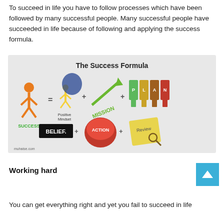To succeed in life you have to follow processes which have been followed by many successful people. Many successful people have succeeded in life because of following and applying the success formula.
[Figure (infographic): The Success Formula infographic showing: SUCCESS = Positive Mindset + MISSION + PLAN + BELIEF + ACTION + Review, with colorful icons including an orange figure, blue people group, green rising arrow, colorful key-shaped figures spelling PLAN, a black BELIEF sign, a red ACTION button, and a yellow Review sticky note with magnifying glass. Source: muhaise.com]
Working hard
You can get everything right and yet you fail to succeed in life